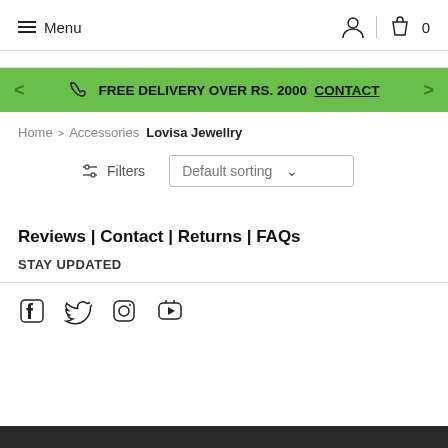≡ Menu | user icon | bag icon 0
FREE DELIVERY OVER RS. 2000 CONTACT
Home > Accessories Lovisa Jewellry
Filters | Default sorting
Reviews | Contact | Returns | FAQs
STAY UPDATED
[Figure (other): Social media icons: Facebook, Twitter, Instagram, YouTube]